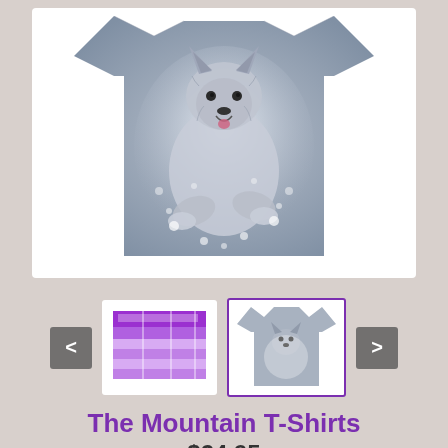[Figure (photo): A gray t-shirt featuring a wolf running through snow, displayed against a light gray background. The shirt has short sleeves and the wolf image covers most of the front.]
[Figure (table-as-image): Thumbnail of a size chart table with purple header]
[Figure (photo): Thumbnail of the wolf t-shirt, selected with purple border]
The Mountain T-Shirts
$24.95